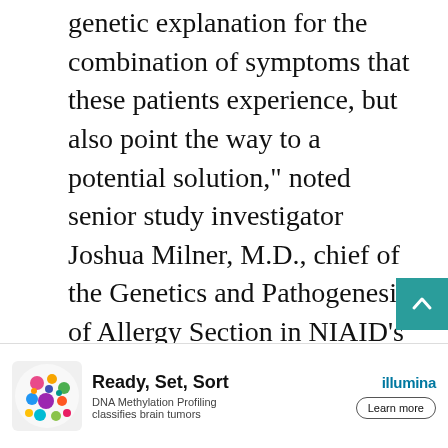genetic explanation for the combination of symptoms that these patients experience, but also point the way to a potential solution," noted senior study investigator Joshua Milner, M.D., chief of the Genetics and Pathogenesis of Allergy Section in NIAID's Laboratory of Allergic Diseases. "If we can devise a way to block alpha tryptase, we might be able to alleviate some or all of the symptoms related to elevated tryptase levels."
The researchers felt it essential to investigate these genetic changes among a gene... oup of
[Figure (other): Advertisement banner for Illumina: 'Ready, Set, Sort' with subtext 'DNA Methylation Profiling classifies brain tumors' and a Learn more button. Colorful cell illustration on the left.]